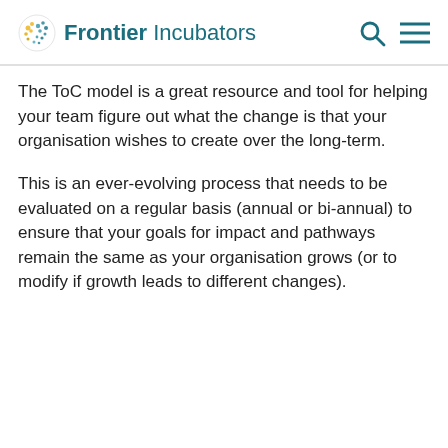Frontier Incubators
The ToC model is a great resource and tool for helping your team figure out what the change is that your organisation wishes to create over the long-term.
This is an ever-evolving process that needs to be evaluated on a regular basis (annual or bi-annual) to ensure that your goals for impact and pathways remain the same as your organisation grows (or to modify if growth leads to different changes).